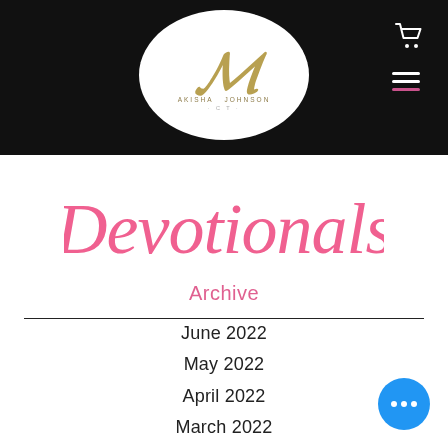[Figure (logo): Black navigation header bar with white oval logo containing stylized M letter and text AKISHA JOHNSON, shopping cart icon top right, hamburger menu icon with pink bottom line]
Devotionals
Archive
June 2022
May 2022
April 2022
March 2022
February 2022
January 2022
January 2021
December 2020